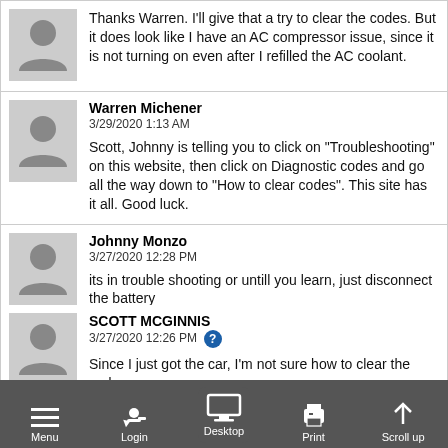Thanks Warren. I'll give that a try to clear the codes. But it does look like I have an AC compressor issue, since it is not turning on even after I refilled the AC coolant.
Warren Michener
3/29/2020 1:13 AM
Scott, Johnny is telling you to click on "Troubleshooting" on this website, then click on Diagnostic codes and go all the way down to "How to clear codes". This site has it all. Good luck.
Johnny Monzo
3/27/2020 12:28 PM
its in trouble shooting or untill you learn, just disconnect the battery
SCOTT MCGINNIS
3/27/2020 12:26 PM
Since I just got the car, I'm not sure how to clear the code
Johnny Monzo
3/...2020 P...
[Figure (screenshot): Mobile browser toolbar with Menu, Login, Desktop, Print, and Scroll up icons on a dark gray background]